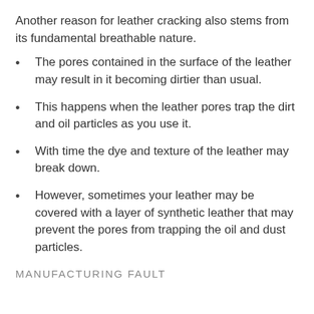Another reason for leather cracking also stems from its fundamental breathable nature.
The pores contained in the surface of the leather may result in it becoming dirtier than usual.
This happens when the leather pores trap the dirt and oil particles as you use it.
With time the dye and texture of the leather may break down.
However, sometimes your leather may be covered with a layer of synthetic leather that may prevent the pores from trapping the oil and dust particles.
MANUFACTURING FAULT